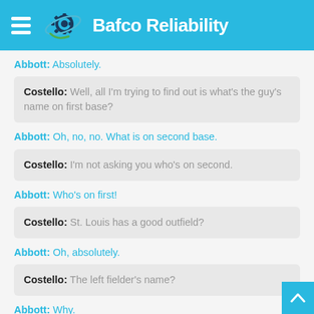Bafco Reliability
Abbott: Absolutely.
Costello: Well, all I'm trying to find out is what's the guy's name on first base?
Abbott: Oh, no, no. What is on second base.
Costello: I'm not asking you who's on second.
Abbott: Who's on first!
Costello: St. Louis has a good outfield?
Abbott: Oh, absolutely.
Costello: The left fielder's name?
Abbott: Why.